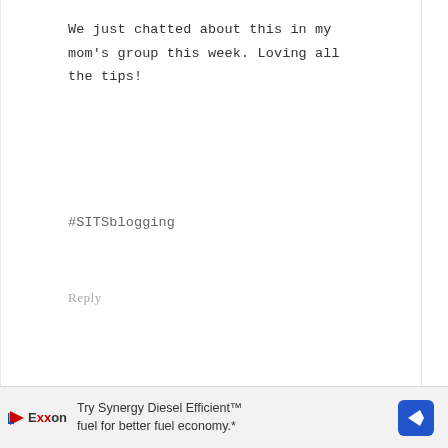We just chatted about this in my mom's group this week. Loving all the tips!
#SITSblogging
Reply
[Figure (photo): Round avatar photo of a woman with blonde hair and glasses]
VIKKI @CUTEEK says FEBRUARY 12, 2014 AT 8:10 AM
Really fun ideas! I especially like
Try Synergy Diesel Efficient™ fuel for better fuel economy.*